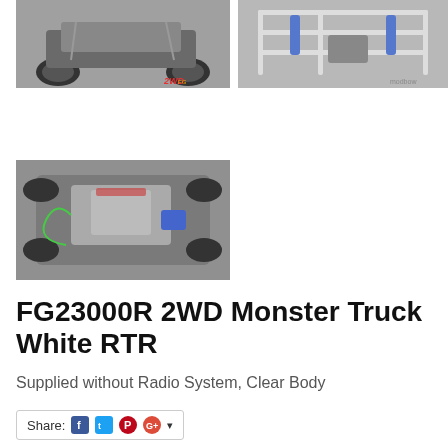[Figure (photo): RC monster truck chassis side view, 2WD, showing frame, wheels and engine, with '2WD' badge watermark]
[Figure (photo): RC monster truck white frame close-up showing suspension, shocks and electronics]
[Figure (photo): RC monster truck chassis top-down view showing engine, frame, wheels and drivetrain]
FG23000R 2WD Monster Truck White RTR
Supplied without Radio System, Clear Body
Share: